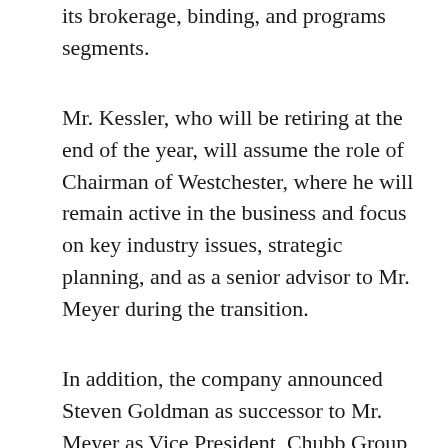its brokerage, binding, and programs segments.
Mr. Kessler, who will be retiring at the end of the year, will assume the role of Chairman of Westchester, where he will remain active in the business and focus on key industry issues, strategic planning, and as a senior advisor to Mr. Meyer during the transition.
In addition, the company announced Steven Goldman as successor to Mr. Meyer as Vice President, Chubb Group and Division President, North America Financial Lines.  In this capacity, he will have executive oversight of Chubb's management and professional liability lines of business, which spans public, private, not-for-profit, and financial